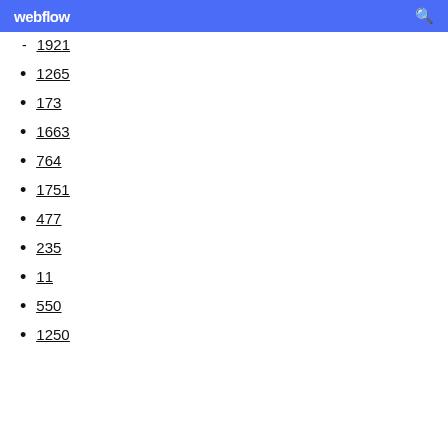webflow
1921
1265
173
1663
764
1751
477
235
11
550
1250